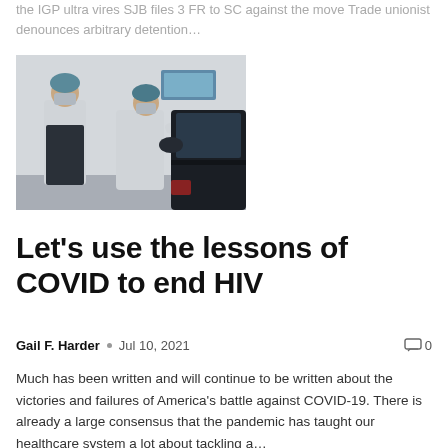the IGP ultra vires SJB files 3 FR to SC against the move Trade unionist denounces arbitrary detention…
[Figure (photo): Two healthcare workers in PPE gowns, masks, and head coverings attending to a vehicle during a COVID-19 drive-through testing or vaccination event.]
Let's use the lessons of COVID to end HIV
Gail F. Harder  •  Jul 10, 2021    💬 0
Much has been written and will continue to be written about the victories and failures of America's battle against COVID-19. There is already a large consensus that the pandemic has taught our healthcare system a lot about tackling a…